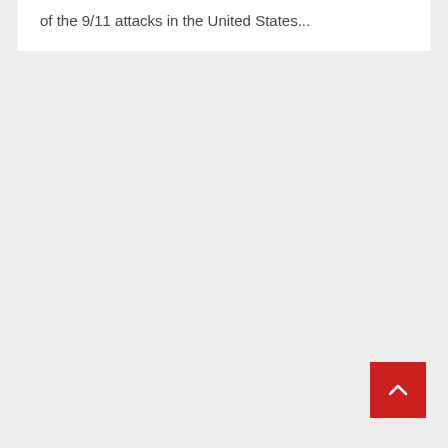of the 9/11 attacks in the United States...
[Figure (other): Red square button with a white upward-pointing chevron arrow, used as a back-to-top navigation button]